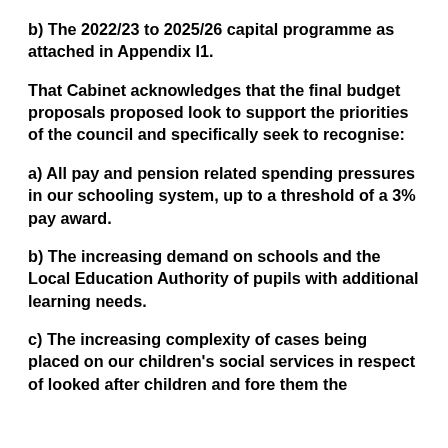b) The 2022/23 to 2025/26 capital programme as attached in Appendix I1.
That Cabinet acknowledges that the final budget proposals proposed look to support the priorities of the council and specifically seek to recognise:
a) All pay and pension related spending pressures in our schooling system, up to a threshold of a 3% pay award.
b) The increasing demand on schools and the Local Education Authority of pupils with additional learning needs.
c) The increasing complexity of cases being placed on our children’s social services in respect of looked after children and fore them the